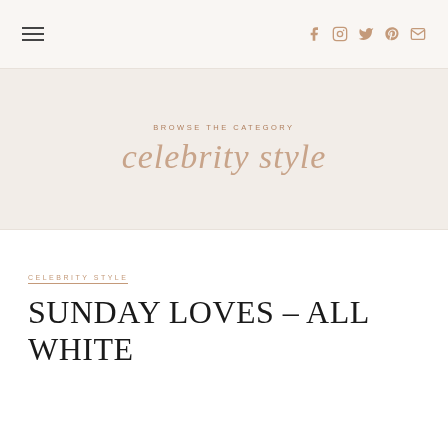☰ | f ig tw p mail
BROWSE THE CATEGORY
celebrity style
CELEBRITY STYLE
SUNDAY LOVES – ALL WHITE